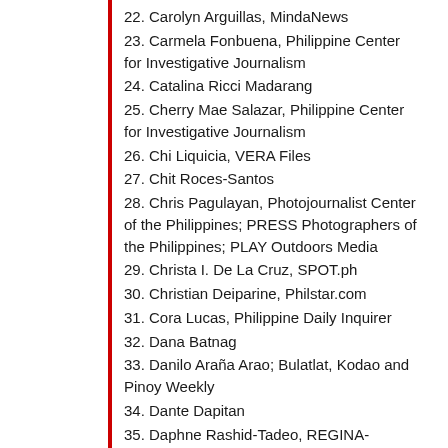22. Carolyn Arguillas, MindaNews
23. Carmela Fonbuena, Philippine Center for Investigative Journalism
24. Catalina Ricci Madarang
25. Cherry Mae Salazar, Philippine Center for Investigative Journalism
26. Chi Liquicia, VERA Files
27. Chit Roces-Santos
28. Chris Pagulayan, Photojournalist Center of the Philippines; PRESS Photographers of the Philippines; PLAY Outdoors Media
29. Christa I. De La Cruz, SPOT.ph
30. Christian Deiparine, Philstar.com
31. Cora Lucas, Philippine Daily Inquirer
32. Dana Batnag
33. Danilo Araña Arao; Bulatlat, Kodao and Pinoy Weekly
34. Dante Dapitan
35. Daphne Rashid-Tadeo, REGINA-University of the Assumption
36. Denison Rey Dalupang, Philippine Daily…